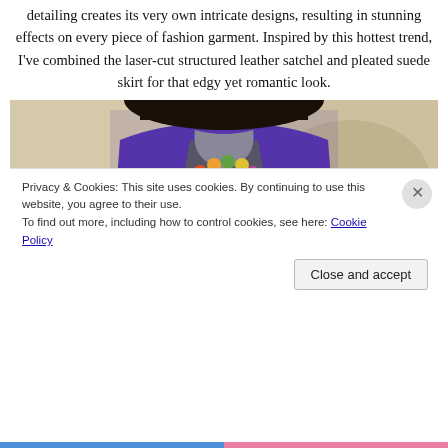detailing creates its very own intricate designs, resulting in stunning effects on every piece of fashion garment. Inspired by this hottest trend, I've combined the laser-cut structured leather satchel and pleated suede skirt for that edgy yet romantic look.
[Figure (photo): A woman wearing a purple double-breasted blazer with white buttons, a dark top, and a colorful beaded necklace, photographed outdoors with a blurred background]
Privacy & Cookies: This site uses cookies. By continuing to use this website, you agree to their use.
To find out more, including how to control cookies, see here: Cookie Policy
Close and accept